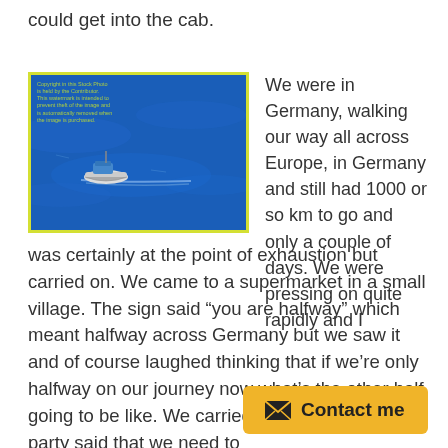could get into the cab.
[Figure (photo): A fishing or small vessel boat on blue ocean water, viewed from above at a distance, with a yellow-green border frame. A watermark text is visible in the top-left corner of the image.]
We were in Germany, walking our way all across Europe, in Germany and still had 1000 or so km to go and only a couple of days. We were pressing on quite rapidly and I was certainly at the point of exhaustion but carried on. We came to a supermarket in a small village. The sign said “you are halfway” which meant halfway across Germany but we saw it and of course laughed thinking that if we’re only halfway on our journey now what’s the other half going to be like. We carried on and one of my party said that we need to
Contact me